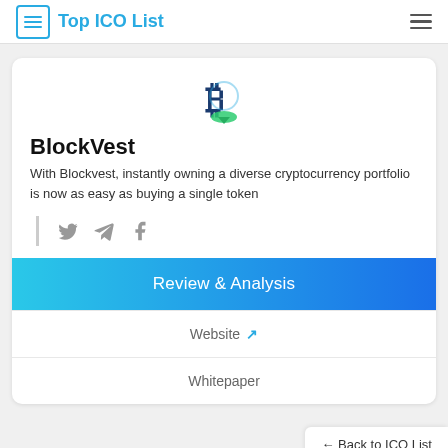Top ICO List
[Figure (logo): BlockVest coin logo: a blue Bitcoin-style B with green leaf/arrow accents]
BlockVest
With Blockvest, instantly owning a diverse cryptocurrency portfolio is now as easy as buying a single token
[Figure (infographic): Social media icons: Twitter bird, Telegram paper plane, Facebook F]
Review & Analysis
Website ↗
Whitepaper
← Back to ICO List